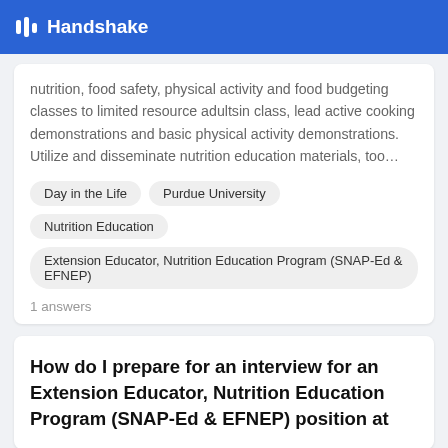Handshake
nutrition, food safety, physical activity and food budgeting classes to limited resource adultsin class, lead active cooking demonstrations and basic physical activity demonstrations. Utilize and disseminate nutrition education materials, too…
Day in the Life
Purdue University
Nutrition Education
Extension Educator, Nutrition Education Program (SNAP-Ed & EFNEP)
1 answers
How do I prepare for an interview for an Extension Educator, Nutrition Education Program (SNAP-Ed & EFNEP) position at